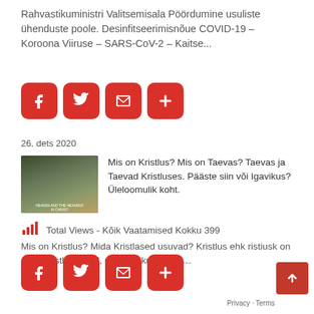Rahvastikuministri Valitsemisala Pöördumine usuliste ühenduste poole. Desinfitseerimisnõue COVID-19 – Koroona Viiruse – SARS-CoV-2 – Kaitse...
[Figure (other): Social share buttons row: Facebook, Twitter, Email, Plus]
26. dets 2020
[Figure (photo): Thumbnail image for article about heaven and Christ]
Mis on Kristlus? Mis on Taevas? Taevas ja Taevad Kristluses. Pääste siin või Igavikus? Üleloomulik koht.
Total Views - Kõik Vaatamised Kokku 399
Mis on Kristlus? Mida Kristlased usuvad? Kristlus ehk ristiusk on monoteistlik usund, mille keskmeks on...
[Figure (other): Social share buttons row: Facebook, Twitter, Email, Plus]